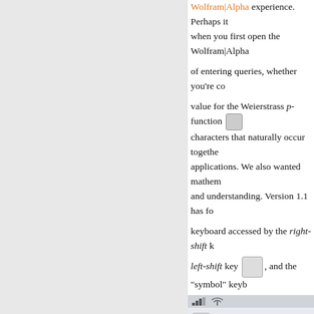Wolfram|Alpha experience. Perhaps it when you first open the Wolfram|Alpha
of entering queries, whether you're co
value for the Weierstrass p-function characters that naturally occur together applications. We also wanted mathem and understanding. Version 1.1 has fo
keyboard accessed by the right-shift k
left-shift key , and the "symbol" keyb
[Figure (screenshot): Screenshot of WolframAlpha iOS app showing the keyboard interface with symbol keys (+, -, *, /, ^, =, (, ), $), number keys (1-9), bracket/comparison keys ([, ], {, }, <, >, comma, period), shift key, and QWERTY keyboard rows (Q W E R T Y U I O and A S D F G H J K)]